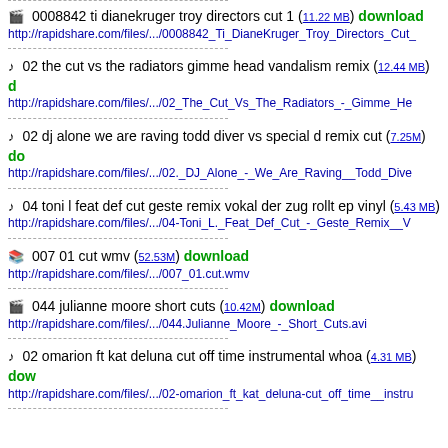0008842 ti dianekruger troy directors cut 1 (11.22 MB) download
http://rapidshare.com/files/.../0008842_Ti_DianeKruger_Troy_Directors_Cut_...
02 the cut vs the radiators gimme head vandalism remix (12.44 MB) download
http://rapidshare.com/files/.../02_The_Cut_Vs_The_Radiators_-_Gimme_He...
02 dj alone we are raving todd diver vs special d remix cut (7.25M) download
http://rapidshare.com/files/.../02._DJ_Alone_-_We_Are_Raving__Todd_Dive...
04 toni l feat def cut geste remix vokal der zug rollt ep vinyl (5.43 MB)
http://rapidshare.com/files/.../04-Toni_L._Feat_Def_Cut_-_Geste_Remix__V...
007 01 cut wmv (52.53M) download
http://rapidshare.com/files/.../007_01.cut.wmv
044 julianne moore short cuts (10.42M) download
http://rapidshare.com/files/.../044.Julianne_Moore_-_Short_Cuts.avi
02 omarion ft kat deluna cut off time instrumental whoa (4.31 MB) download
http://rapidshare.com/files/.../02-omarion_ft_kat_deluna-cut_off_time__instru...